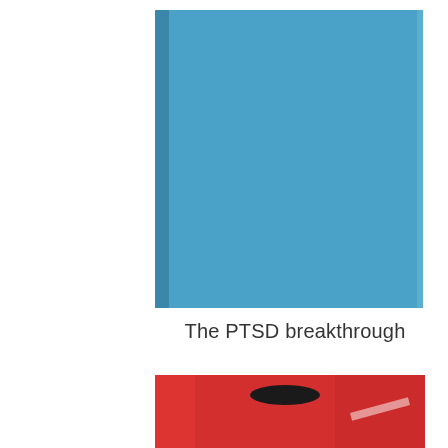[Figure (photo): A blue hardcover book/notebook photographed from the front against a white background. The book has a solid sky-blue cover with a subtle vertical spine line visible on the left side.]
The PTSD breakthrough
[Figure (photo): Partial view of a red object (possibly a bag or item) with a dark opening/pocket visible, photographed at close range.]